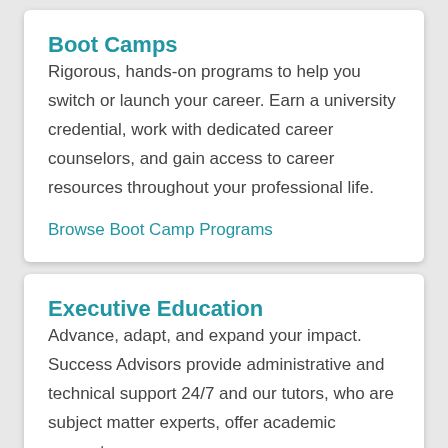Boot Camps
Rigorous, hands-on programs to help you switch or launch your career. Earn a university credential, work with dedicated career counselors, and gain access to career resources throughout your professional life.
Browse Boot Camp Programs
Executive Education
Advance, adapt, and expand your impact. Success Advisors provide administrative and technical support 24/7 and our tutors, who are subject matter experts, offer academic support.